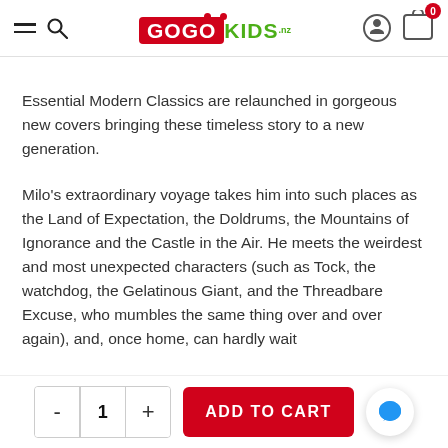GOGOKIDS.co.nz header with navigation, logo, user icon, and cart (0 items)
Essential Modern Classics are relaunched in gorgeous new covers bringing these timeless story to a new generation.
Milo's extraordinary voyage takes him into such places as the Land of Expectation, the Doldrums, the Mountains of Ignorance and the Castle in the Air. He meets the weirdest and most unexpected characters (such as Tock, the watchdog, the Gelatinous Giant, and the Threadbare Excuse, who mumbles the same thing over and over again), and, once home, can hardly wait
- 1 + ADD TO CART [chat button]